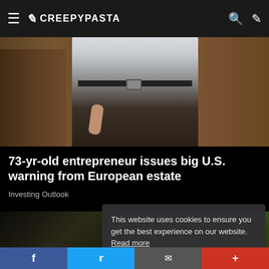CREEPYPASTA
[Figure (photo): Person wearing white shirt and dark brown trousers, lower body visible, standing near wooden fence/barn structure]
73-yr-old entrepreneur issues big U.S. warning from European estate
Investing Outlook
[Figure (photo): Partial image of dark textured animal/creature with green foliage background]
This website uses cookies to ensure you get the best experience on our website. Read more
Got it!